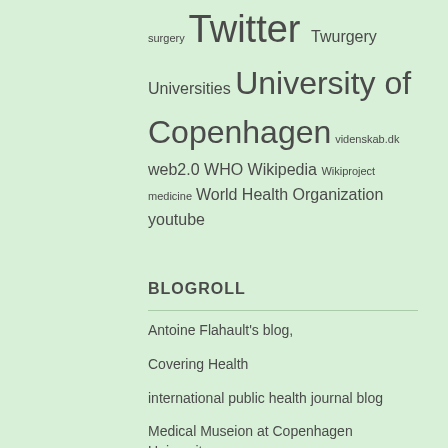surgery Twitter Twurgery Universities University of Copenhagen videnskab.dk web2.0 WHO Wikipedia Wikiproject medicine World Health Organization youtube
BLOGROLL
Antoine Flahault's blog,
Covering Health
international public health journal blog
Medical Museion at Copenhagen University
My favorite disease